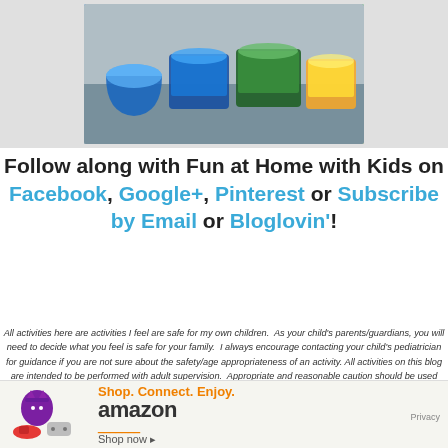[Figure (photo): Photo of colorful containers filled with colored liquid/gel (blue, green, yellow) on a tray, with watermark 'Fun at Home with Kids']
Follow along with Fun at Home with Kids on Facebook, Google+, Pinterest or Subscribe by Email or Bloglovin'!
All activities here are activities I feel are safe for my own children.  As your child's parents/guardians, you will need to decide what you feel is safe for your family.  I always encourage contacting your child's pediatrician for guidance if you are not sure about the safety/age appropriateness of an activity. All activities on this blog are intended to be performed with adult supervision.  Appropriate and reasonable caution should be used when activities call for the use of materials that could potentially be harmful, such as scissors, or items that could present a choking risk (small items), or a drowning risk (water activities), and with introducing a new food/ingredient to a child (allergies).
[Figure (screenshot): Amazon advertisement banner: Shop. Connect. Enjoy. Shop now. Amazon logo with smile. Privacy link.]